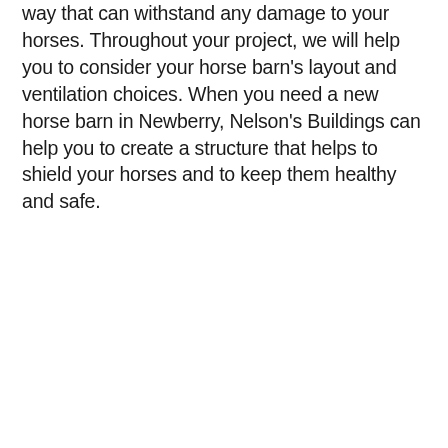way that can withstand any damage to your horses. Throughout your project, we will help you to consider your horse barn's layout and ventilation choices. When you need a new horse barn in Newberry, Nelson's Buildings can help you to create a structure that helps to shield your horses and to keep them healthy and safe.